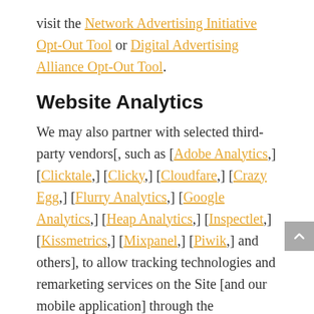visit the Network Advertising Initiative Opt-Out Tool or Digital Advertising Alliance Opt-Out Tool.
Website Analytics
We may also partner with selected third-party vendors[, such as [Adobe Analytics,] [Clicktale,] [Clicky,] [Cloudfare,] [Crazy Egg,] [Flurry Analytics,] [Google Analytics,] [Heap Analytics,] [Inspectlet,] [Kissmetrics,] [Mixpanel,] [Piwik,] and others], to allow tracking technologies and remarketing services on the Site [and our mobile application] through the